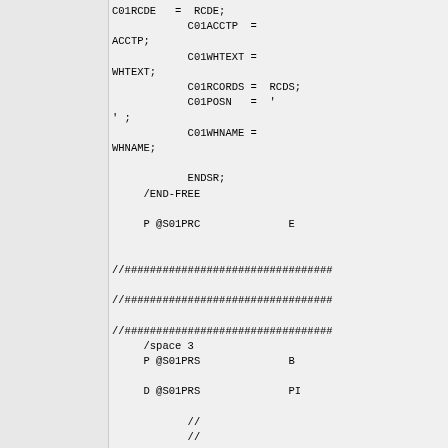C01RCDE = RCDE;
            C01ACCTP =
ACCTP;
            C01WHTEXT =
WHTEXT;
            C01RCORDS = RCDS;
            C01POSN = '
' ;
            C01WHNAME =
WHNAME;

            ENDSR;
     /END-FREE

     P @S01PRC              E


//#################################

//#################################

//#################################
     /space 3
     P @S01PRS              B

     D @S01PRS              PI

            //
            //
     D WRKRC               S
4S 0
     D FX                  S
5S 0